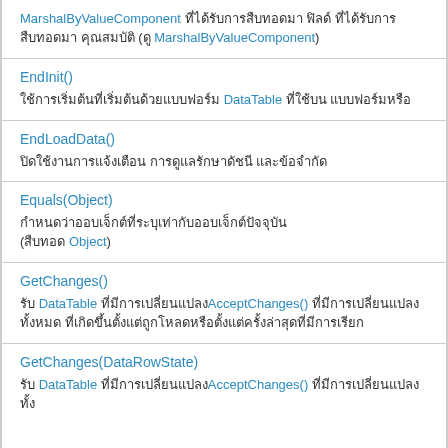MarshalByValueComponent [Thai characters] ([Thai characters] MarshalByValueComponent)
EndInit() - [Thai characters] DataTable [Thai characters]
EndLoadData() - [Thai characters]
Equals(Object) - [Thai characters] ([Thai characters] Object)
GetChanges() - [Thai characters] DataTable [Thai characters]AcceptChanges() [Thai characters]
GetChanges(DataRowState) - [Thai characters] DataTable [Thai characters]AcceptChanges() [Thai characters]